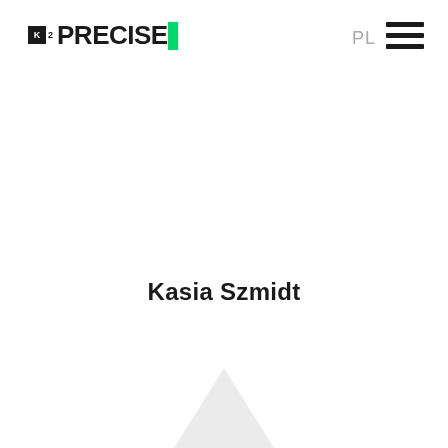K2 PRECISE | PL ☰
Kasia Szmidt
[Figure (illustration): Partial light gray geometric shape visible at the bottom center of the page, appearing to be a partially cropped polygon or diamond shape.]